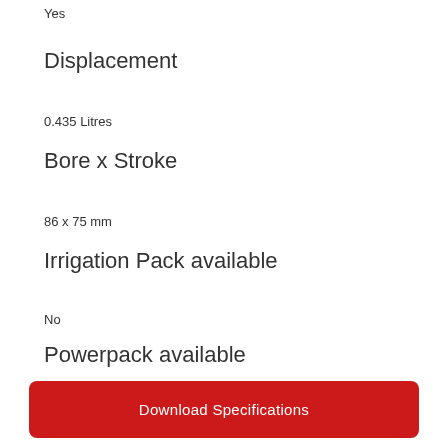Yes
Displacement
0.435 Litres
Bore x Stroke
86 x 75 mm
Irrigation Pack available
No
Powerpack available
No
Download Specifications